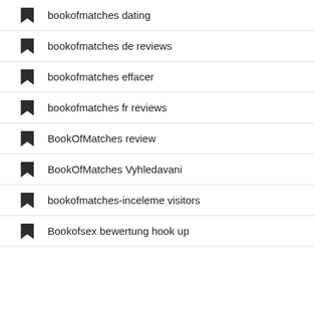bookofmatches dating
bookofmatches de reviews
bookofmatches effacer
bookofmatches fr reviews
BookOfMatches review
BookOfMatches Vyhledavani
bookofmatches-inceleme visitors
Bookofsex bewertung hook up